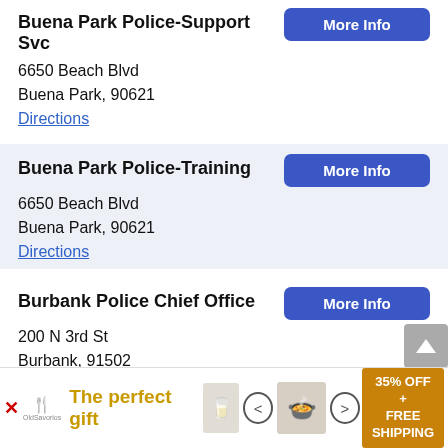Buena Park Police-Support Svc
6650 Beach Blvd
Buena Park, 90621
Directions
Buena Park Police-Training
6650 Beach Blvd
Buena Park, 90621
Directions
Burbank Police Chief Office
200 N 3rd St
Burbank, 91502
Directions
Burbank Police Communications
20...
Bu...
[Figure (infographic): Advertisement banner: The perfect gift with food product images, navigation arrows, and 35% OFF + FREE SHIPPING offer]